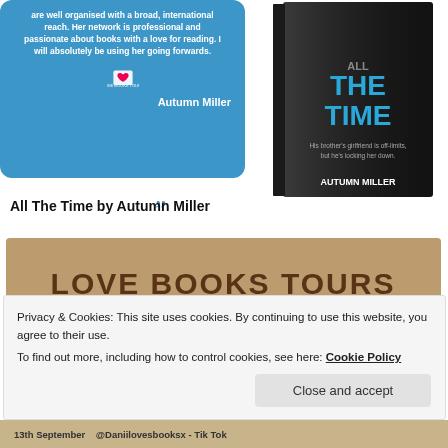[Figure (illustration): Blue speech bubble/quote box with white bold text reading: 'are well organised with a broad, international reach. Her network is professional and passionate about books with a love for reading. I will absolutely be using her going forwards.' with a heart-book logo and author name 'Autumn Miller' at bottom right, followed by quotation marks tail]
[Figure (illustration): Book cover of 'All THE TIME' by Autumn Miller showing a man with text 'His brother's girlfriend is off-limits, but he's locking her down.' on the cover]
All The Time by Autumn Miller
[Figure (illustration): Love Books Tours banner on brown/kraft paper background with large text 'LOVE BOOKS TOURS', Twitter handle @HomeOsborne, Instagram hashtag #AnnaFranklinOsborne, and website www.lovebookstours.com with social media icons]
Privacy & Cookies: This site uses cookies. By continuing to use this website, you agree to their use.
To find out more, including how to control cookies, see here: Cookie Policy
Close and accept
13th September   @Daniilovesbooksx - Tik Tok